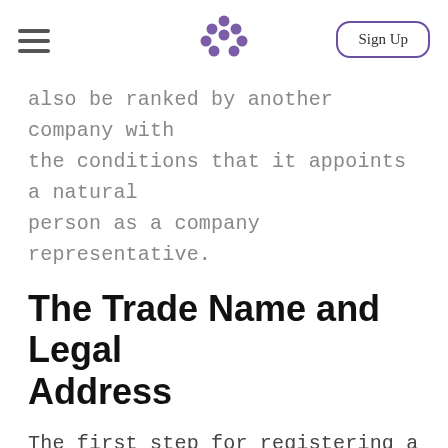Sign Up
also be ranked by another company with the conditions that it appoints a natural person as a company representative.
The Trade Name and Legal Address
The first step for registering a business in Turkey is finding a suitable trade name for the business. The name must be unique and must not be offensive. In order to make the company name is unique, the